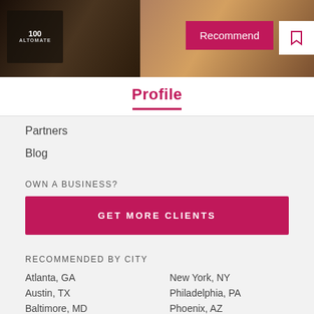[Figure (photo): Hero banner image showing a business interior with warm lighting. Contains a logo on left side, and 'Recommend' button and bookmark icon on right.]
Profile
Partners
Blog
OWN A BUSINESS?
GET MORE CLIENTS
RECOMMENDED BY CITY
Atlanta, GA
Austin, TX
Baltimore, MD
Boston, MA
Buffalo, NY
Chicago, IL
Dallas, TX
New York, NY
Philadelphia, PA
Phoenix, AZ
Portland, OR
Sacramento, CA
San Antonio, TX
San Diego, CA